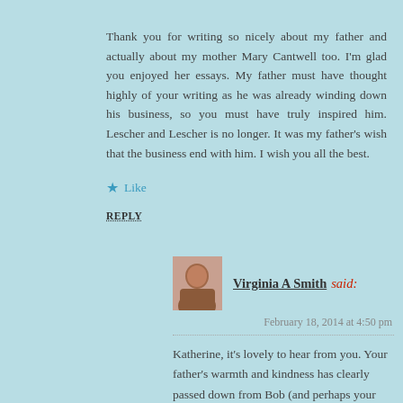Thank you for writing so nicely about my father and actually about my mother Mary Cantwell too. I'm glad you enjoyed her essays. My father must have thought highly of your writing as he was already winding down his business, so you must have truly inspired him. Lescher and Lescher is no longer. It was my father's wish that the business end with him. I wish you all the best.
★ Like
REPLY
Virginia A Smith said:
February 18, 2014 at 4:50 pm
Katherine, it's lovely to hear from you. Your father's warmth and kindness has clearly passed down from Bob (and perhaps your mother also, but I didn't know her). I think of him often, and still laugh at some